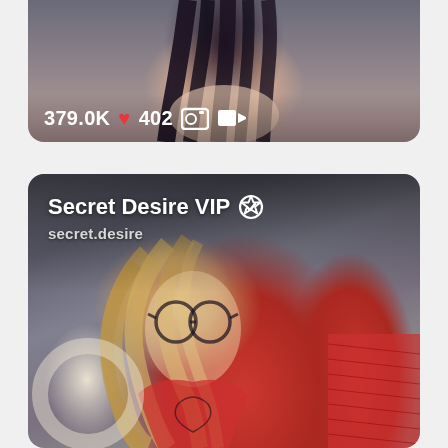[Figure (photo): Top card showing a dark-haired person, partially cropped at bottom of card, with stats overlay showing 379.0K hearts, 402 photos, and video icon]
379.0K ♥ 402 📷 🎥
[Figure (photo): Profile card for 'Secret Desire VIP' with verified checkmark badge and handle 'secret.desire'. Shows a blonde woman with curly hair, glasses, wearing red lingerie with tattoos visible on chest area.]
Secret Desire VIP ✓
secret.desire